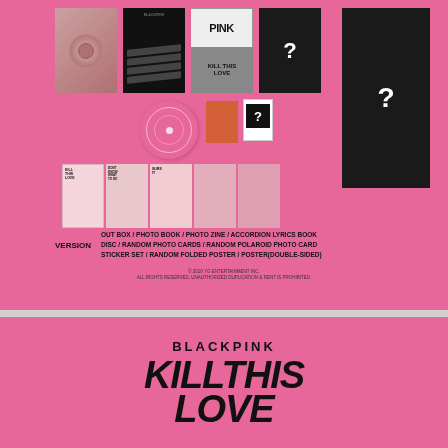[Figure (photo): BLACKPINK Kill This Love Pink Version album product shot showing: photo book (pink emblem cover), black photo book with slash graphics, pink/white photo zine with PINK label, accordion lyrics book set, CD disc, random photo card (orange), random polaroid photo card with question mark, sticker set, folded poster, and a large black poster with question mark. All items displayed on pink background.]
PINK VERSION  OUT BOX / PHOTO BOOK / PHOTO ZINE / ACCORDION LYRICS BOOK / DISC / RANDOM PHOTO CARDS / RANDOM POLAROID PHOTO CARD / STICKER SET / RANDOM FOLDED POSTER / POSTER(DOUBLE-SIDED)
© 2019 YG ENTERTAINMENT INC. ALL RIGHTS RESERVED. UNAUTHORIZED DUPLICATION & RENT IS PROHIBITED.
[Figure (photo): Pink banner with BLACKPINK logo and album title KILL THIS LOVE in large bold black italic text on pink background.]